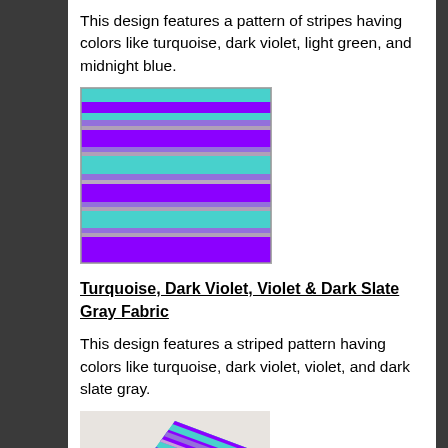This design features a pattern of stripes having colors like turquoise, dark violet, light green, and midnight blue.
[Figure (illustration): A rectangular swatch showing horizontal stripes in turquoise, dark violet/purple, light pink/gray, and repeating pattern, with a thin border.]
Turquoise, Dark Violet, Violet & Dark Slate Gray Fabric
This design features a striped pattern having colors like turquoise, dark violet, violet, and dark slate gray.
[Figure (photo): A decorative throw pillow with diagonal stripes in turquoise, purple/violet, and light gray/pink, photographed on a light background.]